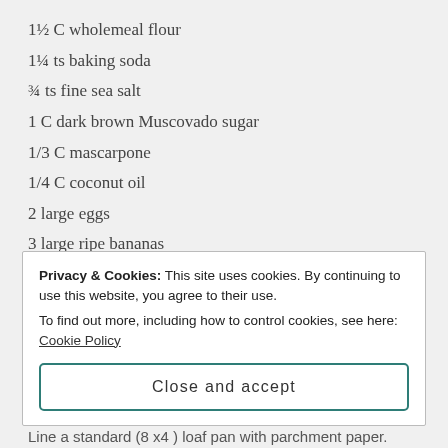1½ C wholemeal flour
1¼ ts baking soda
¾ ts fine sea salt
1 C dark brown Muscovado sugar
1/3 C mascarpone
1/4 C coconut oil
2 large eggs
3 large ripe bananas
a sprinkle of omega seeds (pumpkin, sunflower, brown and golden linseed, sesame)
Know-how
Privacy & Cookies: This site uses cookies. By continuing to use this website, you agree to their use.
To find out more, including how to control cookies, see here: Cookie Policy
Close and accept
Line a standard (8 x4 ) loaf pan with parchment paper.